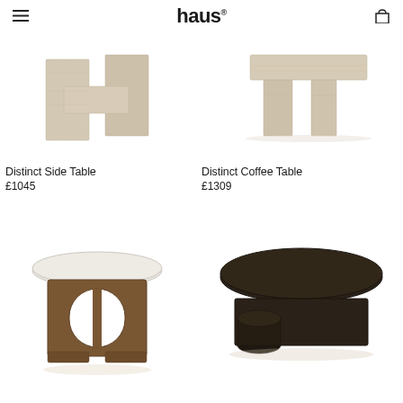haus®
[Figure (photo): Distinct Side Table - light travertine stone X-shaped side table on white background]
[Figure (photo): Distinct Coffee Table - light travertine stone coffee table on white background]
Distinct Side Table
£1045
Distinct Coffee Table
£1309
[Figure (photo): Round side table with white stone top and dark brown wooden base with arch cutout]
[Figure (photo): Oval dark wood coffee table with asymmetric cylindrical base]